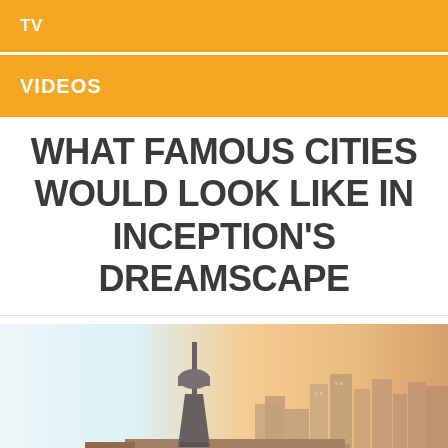TV
VIDEOS
WHAT FAMOUS CITIES WOULD LOOK LIKE IN INCEPTION'S DREAMSCAPE
[Figure (photo): Aerial cityscape photo showing a tall observation tower (resembling the Tower of the Americas in San Antonio) prominently in the center-left, with urban buildings and skyscrapers in the background under a warm sunset sky with blue-white haze on the left side.]